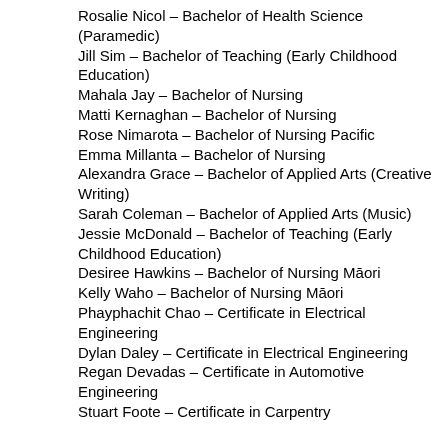Rosalie Nicol – Bachelor of Health Science (Paramedic)
Jill Sim – Bachelor of Teaching (Early Childhood Education)
Mahala Jay – Bachelor of Nursing
Matti Kernaghan – Bachelor of Nursing
Rose Nimarota – Bachelor of Nursing Pacific
Emma Millanta – Bachelor of Nursing
Alexandra Grace – Bachelor of Applied Arts (Creative Writing)
Sarah Coleman – Bachelor of Applied Arts (Music)
Jessie McDonald – Bachelor of Teaching (Early Childhood Education)
Desiree Hawkins – Bachelor of Nursing Māori
Kelly Waho – Bachelor of Nursing Māori
Phayphachit Chao – Certificate in Electrical Engineering
Dylan Daley – Certificate in Electrical Engineering
Regan Devadas – Certificate in Automotive Engineering
Stuart Foote – Certificate in Carpentry